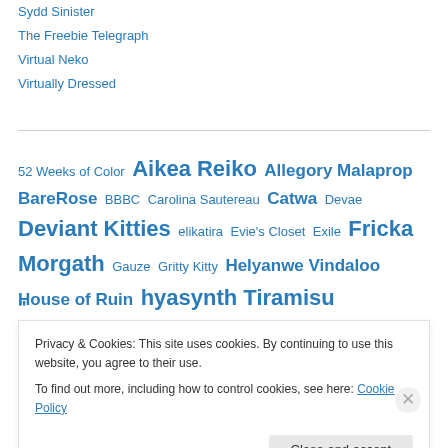Sydd Sinister
The Freebie Telegraph
Virtual Neko
Virtually Dressed
52 Weeks of Color Aikea Reiko Allegory Malaprop BareRose BBBC Carolina Sautereau Catwa Devae Deviant Kitties elikatira Evie's Closet Exile Fricka Morgath Gauze Gritty Kitty Helyanwe Vindaloo House of Ruin hyasynth Tiramisu
Privacy & Cookies: This site uses cookies. By continuing to use this website, you agree to their use.
To find out more, including how to control cookies, see here: Cookie Policy